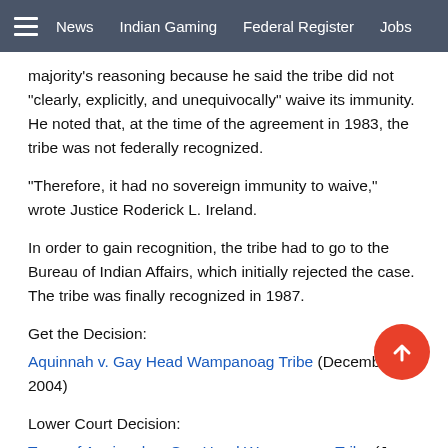News  Indian Gaming  Federal Register  Jobs
majority's reasoning because he said the tribe did not "clearly, explicitly, and unequivocally" waive its immunity. He noted that, at the time of the agreement in 1983, the tribe was not federally recognized.
"Therefore, it had no sovereign immunity to waive," wrote Justice Roderick L. Ireland.
In order to gain recognition, the tribe had to go to the Bureau of Indian Affairs, which initially rejected the case. The tribe was finally recognized in 1987.
Get the Decision:
Aquinnah v. Gay Head Wampanoag Tribe (December 9, 2004)
Lower Court Decision:
Town of Aquinnah v. Gay Head Wampanoag Tribe (June [?], 2003)
Related Decision: